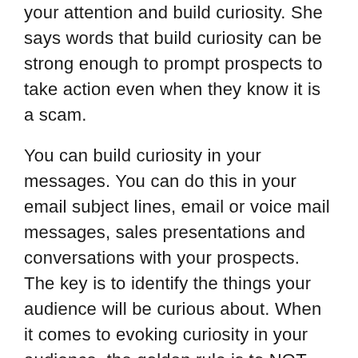your attention and build curiosity. She says words that build curiosity can be strong enough to prompt prospects to take action even when they know it is a scam.
You can build curiosity in your messages. You can do this in your email subject lines, email or voice mail messages, sales presentations and conversations with your prospects. The key is to identify the things your audience will be curious about. When it comes to evoking curiosity in your audience, the golden rule is to NOT give away the answer. Force your prospect to read and respond to your message to find out the answer.